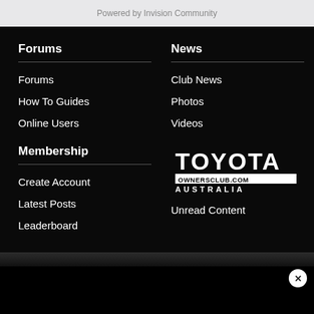Powered by Invision Community
Forums
Forums
How To Guides
Online Users
Membership
Create Account
Latest Posts
Leaderboard
News
Club News
Photos
Videos
[Figure (logo): Toyota Ownersclub.com Australia logo in white on black background]
Unread Content